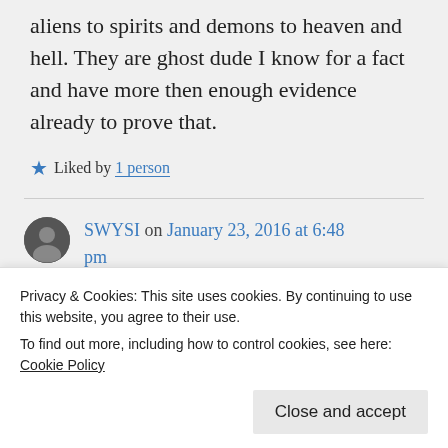aliens to spirits and demons to heaven and hell. They are ghost dude I know for a fact and have more then enough evidence already to prove that.
★ Liked by 1 person
SWYSI on January 23, 2016 at 6:48 pm
Privacy & Cookies: This site uses cookies. By continuing to use this website, you agree to their use.
To find out more, including how to control cookies, see here: Cookie Policy
Close and accept
proved ghosts exist.